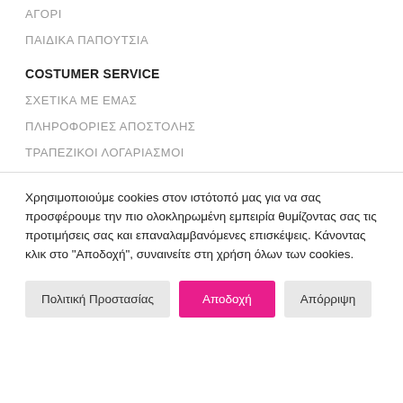ΑΓΟΡΙ
ΠΑΙΔΙΚΑ ΠΑΠΟΥΤΣΙΑ
COSTUMER SERVICE
ΣΧΕΤΙΚΑ ΜΕ ΕΜΑΣ
ΠΛΗΡΟΦΟΡΙΕΣ ΑΠΟΣΤΟΛΗΣ
ΤΡΑΠΕΖΙΚΟΙ ΛΟΓΑΡΙΑΣΜΟΙ
Χρησιμοποιούμε cookies στον ιστότοπό μας για να σας προσφέρουμε την πιο ολοκληρωμένη εμπειρία θυμίζοντας σας τις προτιμήσεις σας και επαναλαμβανόμενες επισκέψεις. Κάνοντας κλικ στο "Αποδοχή", συναινείτε στη χρήση όλων των cookies.
Πολιτική Προστασίας
Αποδοχή
Απόρριψη